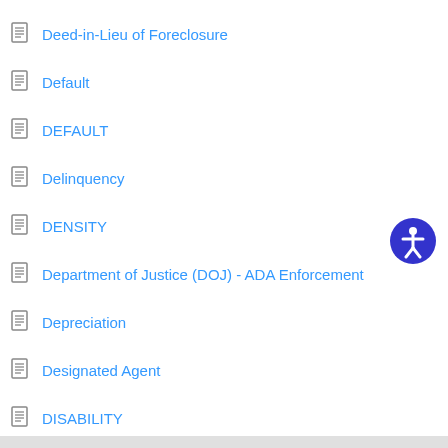Deed-in-Lieu of Foreclosure
Default
DEFAULT
Delinquency
DENSITY
Department of Justice (DOJ) - ADA Enforcement
Depreciation
Designated Agent
DISABILITY
Disability
Disclosure
Show all articles ( 20 )